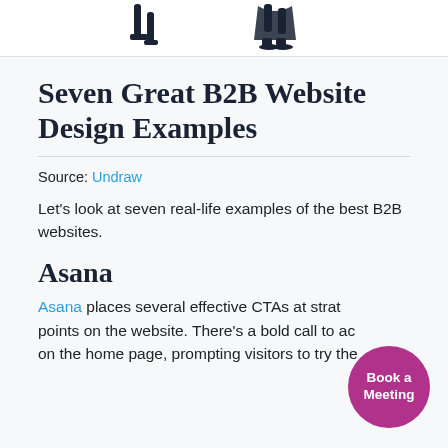[Figure (illustration): Partial illustration showing two illustrated figures (people) at the bottom of a white-background image strip, partially cropped at top of page.]
Seven Great B2B Website Design Examples
Source: Undraw
Let's look at seven real-life examples of the best B2B websites.
Asana
Asana places several effective CTAs at strategic points on the website. There's a bold call to action on the home page, prompting visitors to try the